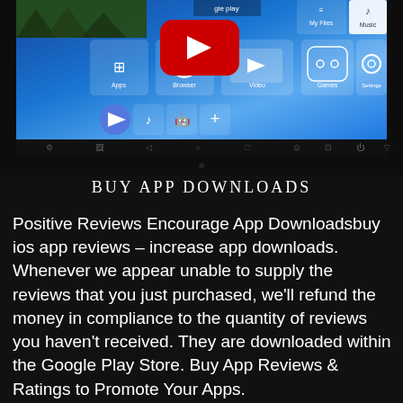[Figure (screenshot): Screenshot of an Android TV/tablet interface showing app icons (Apps, Browser, Video, Games, Settings, My Files, Music) on a blue gradient background with a YouTube play button overlay and navigation bar at bottom]
BUY APP DOWNLOADS
Positive Reviews Encourage App Downloadsbuy ios app reviews – increase app downloads. Whenever we appear unable to supply the reviews that you just purchased, we'll refund the money in compliance to the quantity of reviews you haven't received. They are downloaded within the Google Play Store. Buy App Reviews & Ratings to Promote Your Apps.